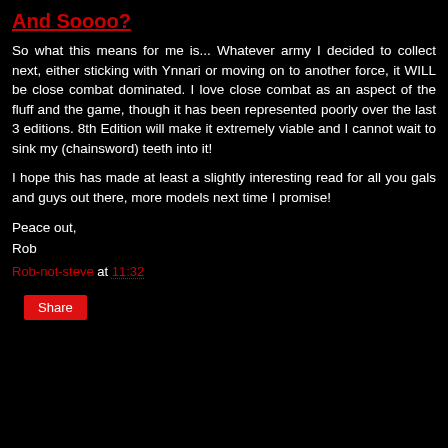And Soooo?
So what this means for me is... Whatever army I decided to collect next, either sticking with Ynnari or moving on to another force, it WILL be close combat dominated. I love close combat as an aspect of the fluff and the game, though it has been represented poorly over the last 3 editions. 8th Edition will make it extremely viable and I cannot wait to sink my (chainsword) teeth into it!
I hope this has made at least a slightly interesting read for all you gals and guys out there, more models next time I promise!
Peace out,
Rob
Rob-not-steve at 11:32
Share